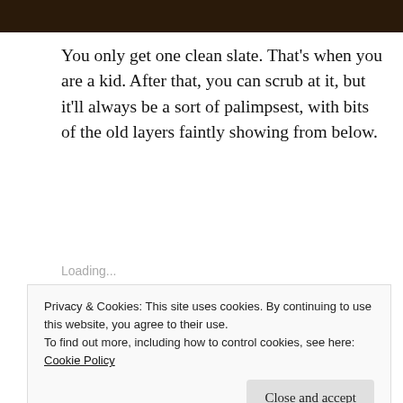[Figure (photo): Dark brown background image at top of page, appears to be a close-up photo]
You only get one clean slate. That's when you are a kid. After that, you can scrub at it, but it'll always be a sort of palimpsest, with bits of the old layers faintly showing from below.
Share this:
[Figure (other): Blue Twitter Tweet button with bird icon]
Loading...
Privacy & Cookies: This site uses cookies. By continuing to use this website, you agree to their use.
To find out more, including how to control cookies, see here: Cookie Policy
Close and accept